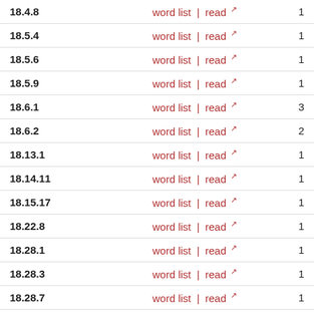| ID | Links | Count |
| --- | --- | --- |
| 18.4.8 | word list | read | 1 |
| 18.5.4 | word list | read | 1 |
| 18.5.6 | word list | read | 1 |
| 18.5.9 | word list | read | 1 |
| 18.6.1 | word list | read | 3 |
| 18.6.2 | word list | read | 2 |
| 18.13.1 | word list | read | 1 |
| 18.14.11 | word list | read | 1 |
| 18.15.17 | word list | read | 1 |
| 18.22.8 | word list | read | 1 |
| 18.28.1 | word list | read | 1 |
| 18.28.3 | word list | read | 1 |
| 18.28.7 | word list | read | 1 |